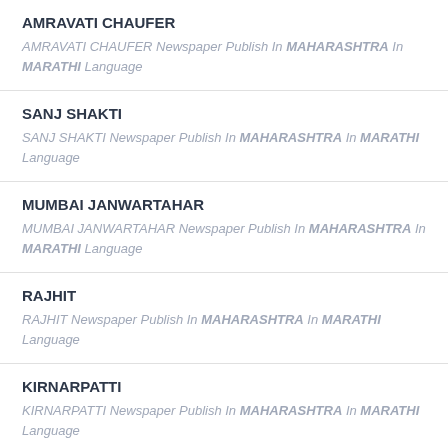AMRAVATI CHAUFER
AMRAVATI CHAUFER Newspaper Publish In MAHARASHTRA In MARATHI Language
SANJ SHAKTI
SANJ SHAKTI Newspaper Publish In MAHARASHTRA In MARATHI Language
MUMBAI JANWARTAHAR
MUMBAI JANWARTAHAR Newspaper Publish In MAHARASHTRA In MARATHI Language
RAJHIT
RAJHIT Newspaper Publish In MAHARASHTRA In MARATHI Language
KIRNARPATTI
KIRNARPATTI Newspaper Publish In MAHARASHTRA In MARATHI Language